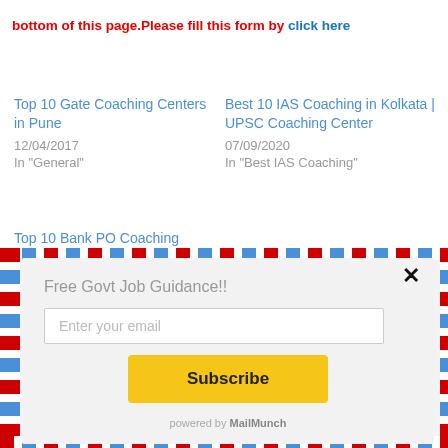bottom of this page.Please fill this form by click here
Top 10 Gate Coaching Centers in Pune
12/04/2017
In "General"
Best 10 IAS Coaching in Kolkata | UPSC Coaching Center
07/09/2020
In "Best IAS Coaching"
Top 10 Bank PO Coaching
Free Govt Job Guidance!!
Enter your email
Subscribe
powered by MailMunch